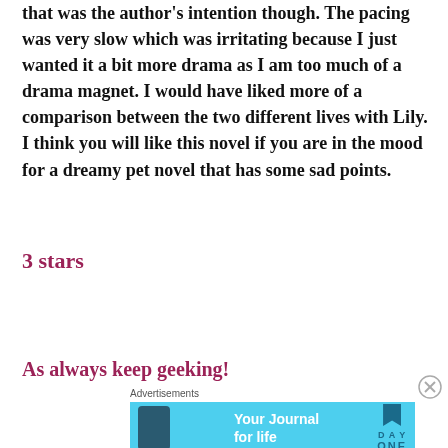that was the author's intention though. The pacing was very slow which was irritating because I just wanted it a bit more drama as I am too much of a drama magnet. I would have liked more of a comparison between the two different lives with Lily. I think you will like this novel if you are in the mood for a dreamy pet novel that has some sad points.
3 stars
As always keep geeking!
[Figure (other): Advertisement banner for Day One 'Your Journal for life' app with a close button (X) in the top right corner]